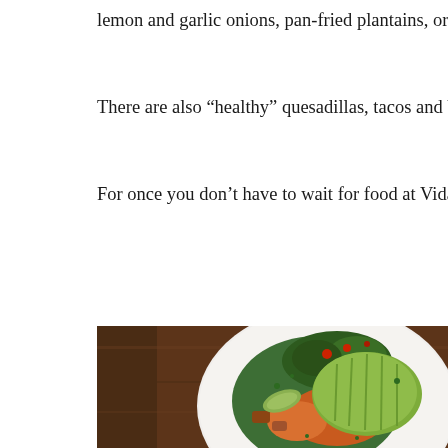lemon and garlic onions, pan-fried plantains, organic brown rice
There are also “healthy” quesadillas, tacos and burritos—and th
For once you don’t have to wait for food at Vida! Call: (310) 57
[Figure (photo): Overhead view of a white plate with a colorful healthy meal featuring sliced avocado, roasted vegetables, broccoli, carrots, greens and grains on a dark wood table background.]